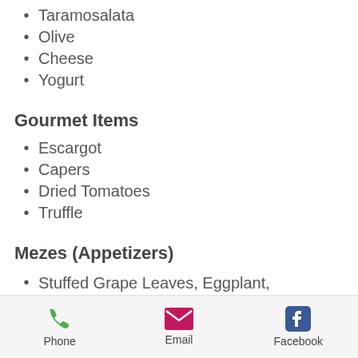Taramosalata
Olive
Cheese
Yogurt
Gourmet Items
Escargot
Capers
Dried Tomatoes
Truffle
Mezes (Appetizers)
Stuffed Grape Leaves, Eggplant, Beans, Roasted Peppers
Compotes
Phone   Email   Facebook